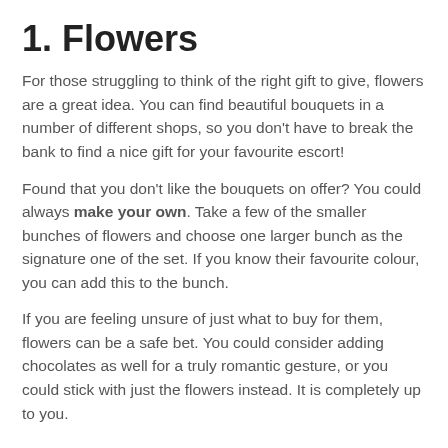1. Flowers
For those struggling to think of the right gift to give, flowers are a great idea. You can find beautiful bouquets in a number of different shops, so you don't have to break the bank to find a nice gift for your favourite escort!
Found that you don't like the bouquets on offer? You could always make your own. Take a few of the smaller bunches of flowers and choose one larger bunch as the signature one of the set. If you know their favourite colour, you can add this to the bunch.
If you are feeling unsure of just what to buy for them, flowers can be a safe bet. You could consider adding chocolates as well for a truly romantic gesture, or you could stick with just the flowers instead. It is completely up to you.